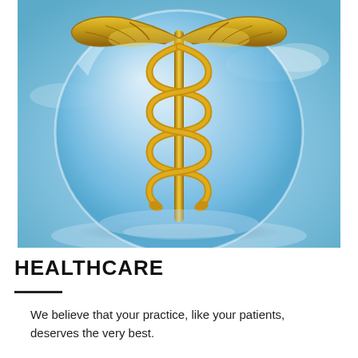[Figure (illustration): A golden caduceus medical symbol (staff with two snakes and wings) placed inside a large transparent glass sphere, set against a blue sky background with soft lighting and reflections.]
HEALTHCARE
We believe that your practice, like your patients, deserves the very best.